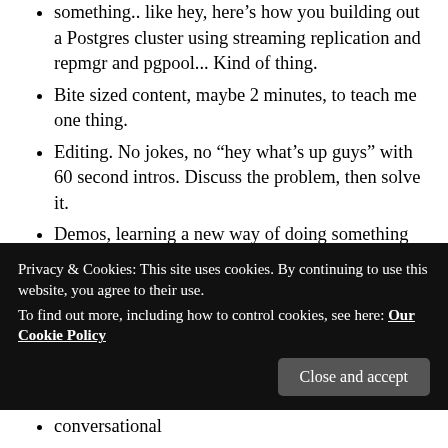something.. like hey, here's how you building out a Postgres cluster using streaming replication and repmgr and pgpool... Kind of thing.
Bite sized content, maybe 2 minutes, to teach me one thing.
Editing. No jokes, no “hey what’s up guys” with 60 second intros. Discuss the problem, then solve it.
Demos, learning a new way of doing something
Doesn’t matter short or long, but has to be deeply technical with code examples that I can actually apply
I watch videos mostly for fun.
Screencast
Privacy & Cookies: This site uses cookies. By continuing to use this website, you agree to their use.
To find out more, including how to control cookies, see here: Our Cookie Policy
conversational